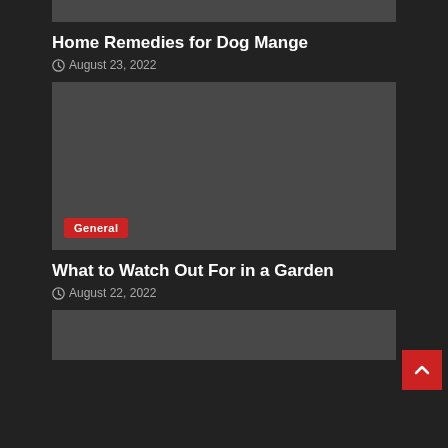[Figure (photo): Cropped top image placeholder, dark gray rectangle]
Home Remedies for Dog Mange
August 23, 2022
[Figure (photo): Large dark gray image placeholder with a red 'General' category badge in the lower left]
What to Watch Out For in a Garden
August 22, 2022
[Figure (photo): Partial dark gray image placeholder at the bottom of the page]